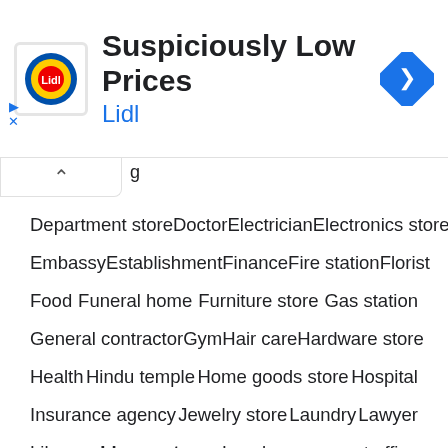[Figure (infographic): Advertisement banner for Lidl showing logo, headline 'Suspiciously Low Prices', brand name 'Lidl', and a blue navigation arrow icon]
Department store  Doctor  Electrician  Electronics store
Embassy  Establishment  Finance  Fire station  Florist
Food  Funeral home  Furniture store  Gas station
General contractor  Gym  Hair care  Hardware store
Health  Hindu temple  Home goods store  Hospital
Insurance agency  Jewelry store  Laundry  Lawyer
Library  Liquor store  Local government office
Locksmith  Lodging  Meal delivery  Meal takeaway
Mosque  Movie rental  Movie theater  Moving company
Museum  Night club  Painter  Park  Parking  Pet store